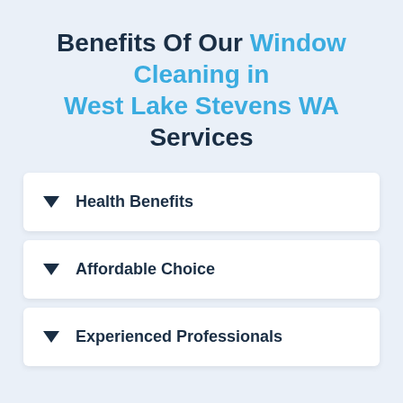Benefits Of Our Window Cleaning in West Lake Stevens WA Services
Health Benefits
Affordable Choice
Experienced Professionals